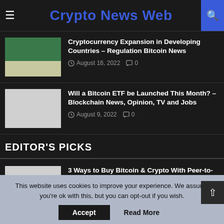Crypto News Web
Cryptocurrency Expansion in Developing Countries – Regulation Bitcoin News
August 16, 2022  0
Will a Bitcoin ETF be Launched This Month? – Blockchain News, Opinion, TV and Jobs
August 9, 2022  0
EDITOR'S PICKS
3 Ways to Buy Bitcoin & Crypto With Peer-to-Peer (P2P)
February 9, 2022  0
This website uses cookies to improve your experience. We assume you're ok with this, but you can opt-out if you wish.
Accept
Read More